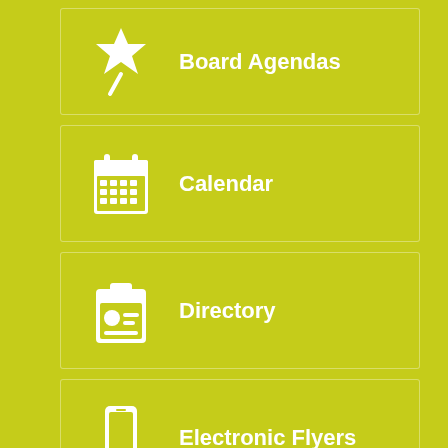Board Agendas
Calendar
Directory
Electronic Flyers